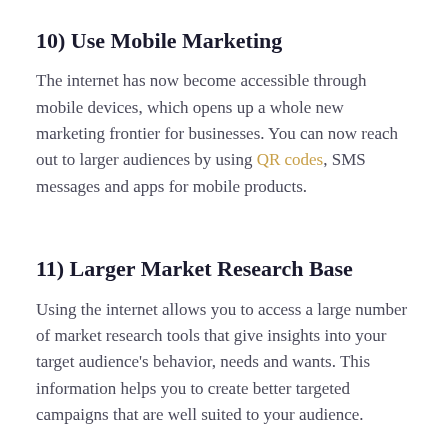10) Use Mobile Marketing
The internet has now become accessible through mobile devices, which opens up a whole new marketing frontier for businesses. You can now reach out to larger audiences by using QR codes, SMS messages and apps for mobile products.
11) Larger Market Research Base
Using the internet allows you to access a large number of market research tools that give insights into your target audience's behavior, needs and wants. This information helps you to create better targeted campaigns that are well suited to your audience.